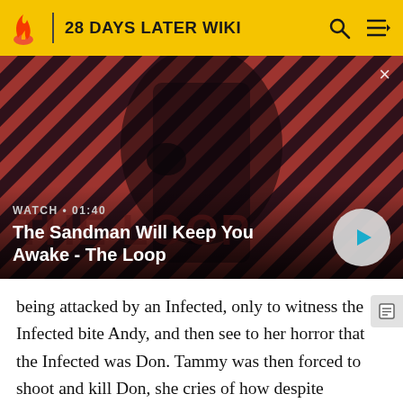28 DAYS LATER WIKI
[Figure (screenshot): Video thumbnail for 'The Sandman Will Keep You Awake - The Loop' with a dark-clad figure against a red diagonal striped background, a raven on shoulder. Shows WATCH • 01:40 label and play button.]
WATCH • 01:40
The Sandman Will Keep You Awake - The Loop
being attacked by an Infected, only to witness the Infected bite Andy, and then see to her horror that the Infected was Don. Tammy was then forced to shoot and kill Don, she cries of how despite everything Don has ever done. Tammy refused leaving her brother, she upset and